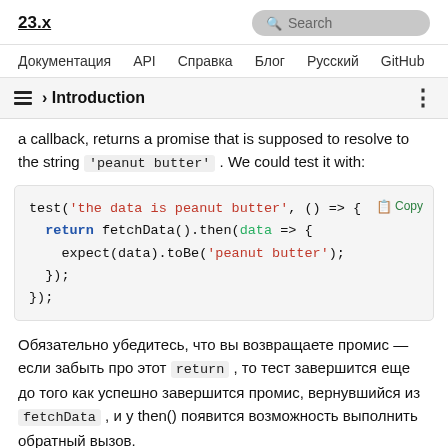23.x | Search
Документация   API   Справка   Блог   Русский   GitHub
› Introduction
a callback, returns a promise that is supposed to resolve to the string 'peanut butter' . We could test it with:
test('the data is peanut butter', () => {
  return fetchData().then(data => {
    expect(data).toBe('peanut butter');
  });
});
Обязательно убедитесь, что вы возвращаете промис — если забыть про этот return , то тест завершится еще до того как успешно завершится промис, вернувшийся из fetchData , и у then() появится возможность выполнить обратный вызов.